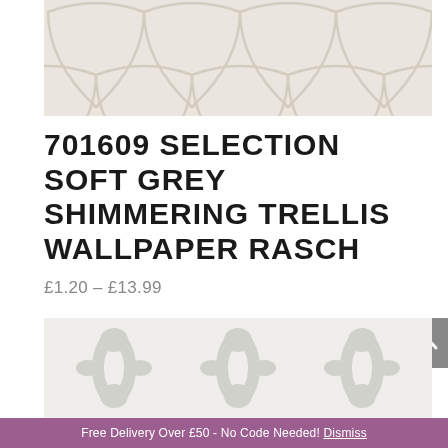[Figure (photo): Close-up of soft grey shimmering trellis wallpaper pattern with repeating Moroccan lantern/ogee shapes in pale cream and light beige tones]
701609 SELECTION SOFT GREY SHIMMERING TRELLIS WALLPAPER RASCH
£1.20 – £13.99
[Figure (photo): Grey and white damask floral wallpaper pattern with ornate baroque botanical motifs on cream background]
Free Delivery Over £50 - No Code Needed! Dismiss